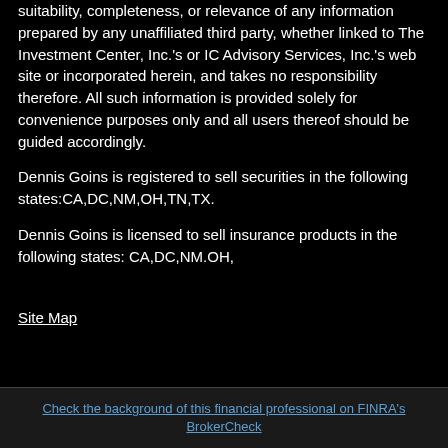suitability, completeness, or relevance of any information prepared by any unaffiliated third party, whether linked to The Investment Center, Inc.'s or IC Advisory Services, Inc.'s web site or incorporated herein, and takes no responsibility therefore. All such information is provided solely for convenience purposes only and all users thereof should be guided accordingly.
Dennis Goins is registered to sell securities in the following states:CA,DC,NM,OH,TN,TX.
Dennis Goins is licensed to sell insurance products in the following states: CA,DC,NM.OH,
Site Map
Check the background of this financial professional on FINRA's BrokerCheck